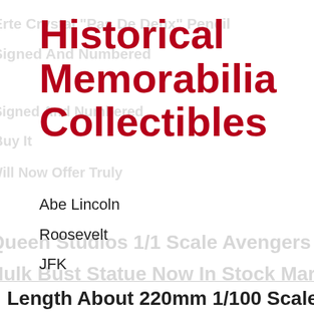Historical Memorabilia Collectibles
Abe Lincoln
Roosevelt
JFK
Benjamin Franklin
Paul Revere
Betsy Ross
Length About 220mm 1/100 Scale